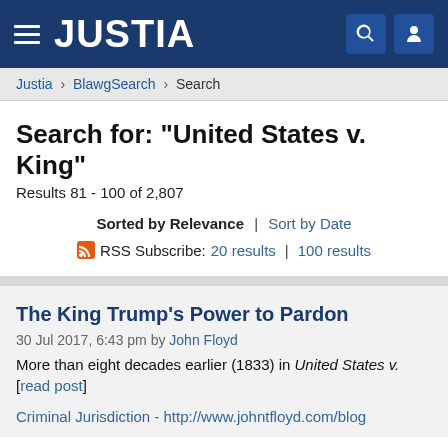JUSTIA
Justia > BlawgSearch > Search
Search for: "United States v. King"
Results 81 - 100 of 2,807
Sorted by Relevance | Sort by Date
RSS Subscribe: 20 results | 100 results
The King Trump’s Power to Pardon
30 Jul 2017, 6:43 pm by John Floyd
More than eight decades earlier (1833) in United States v. [read post]
Criminal Jurisdiction - http://www.johntfloyd.com/blog